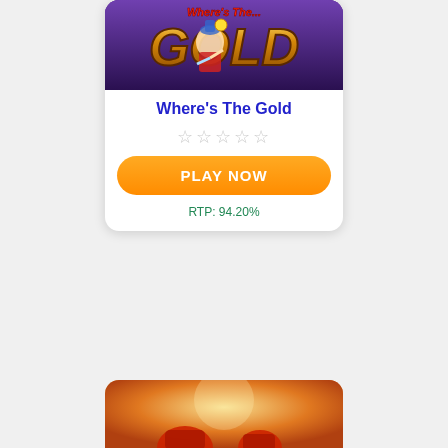[Figure (screenshot): Game card image for 'Where's The Gold' slot game showing a dwarf/gnome character holding gold nugget with large golden 'GOLD' text on purple background]
Where's The Gold
★★★★★ (empty star rating)
PLAY NOW
RTP: 94.20%
[Figure (screenshot): Partial game card image showing warm orange/gold background with partial red cartoon character silhouettes at bottom of page]